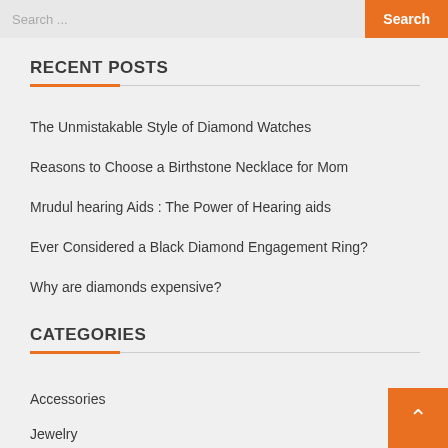Search ...  Search
RECENT POSTS
The Unmistakable Style of Diamond Watches
Reasons to Choose a Birthstone Necklace for Mom
Mrudul hearing Aids : The Power of Hearing aids
Ever Considered a Black Diamond Engagement Ring?
Why are diamonds expensive?
CATEGORIES
Accessories
Jewelry